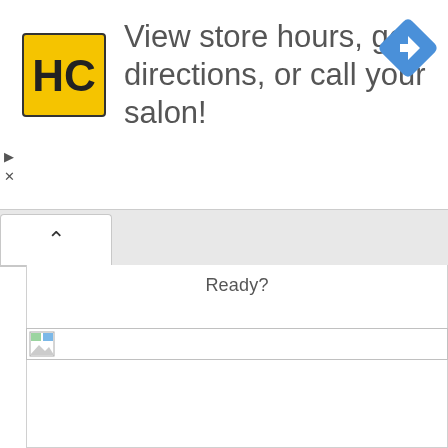[Figure (screenshot): Advertisement banner with HC (Hair Cuttery) yellow logo, text 'View store hours, get directions, or call your salon!', and a blue navigation diamond icon on the right. Small play and X control buttons on the left side.]
Ready?
[Figure (screenshot): Broken image placeholder icon in a rectangular input/image field row.]